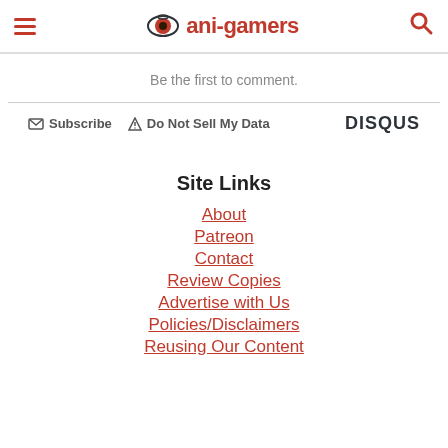ani-gamers
Be the first to comment.
Subscribe  Do Not Sell My Data  DISQUS
Site Links
About
Patreon
Contact
Review Copies
Advertise with Us
Policies/Disclaimers
Reusing Our Content